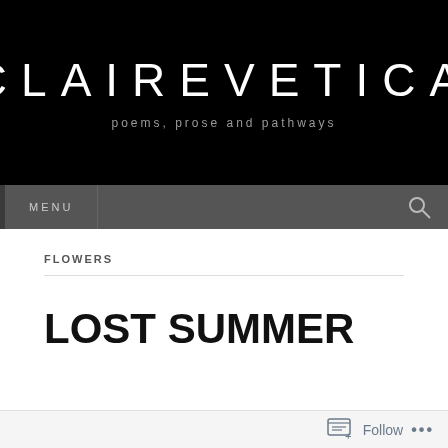CLAIREVETICA
poems, prose and pathways
MENU
FLOWERS
LOST SUMMER
Follow ...